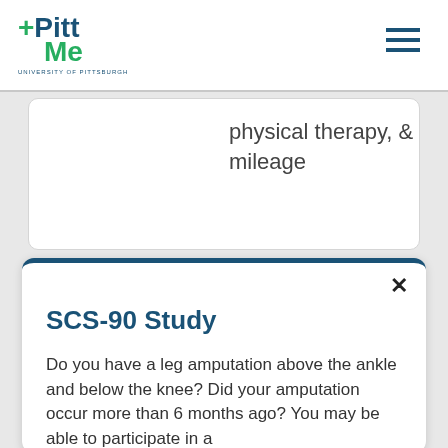[Figure (logo): Pitt+Me University of Pittsburgh logo with navigation hamburger menu]
physical therapy, & mileage
SCS-90 Study
Do you have a leg amputation above the ankle and below the knee? Did your amputation occur more than 6 months ago? You may be able to participate in a